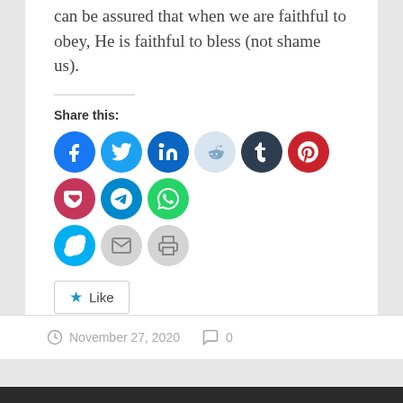can be assured that when we are faithful to obey, He is faithful to bless (not shame us).
Share this:
[Figure (other): Social share icon buttons: Facebook, Twitter, LinkedIn, Reddit, Tumblr, Pinterest, Pocket, Telegram, WhatsApp, Skype, Email, Print]
Like
Be the first to like this.
November 27, 2020   0